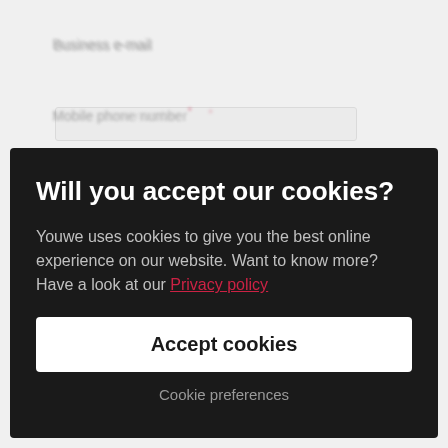Business e-mail
Mobile phone number *
Will you accept our cookies?
Youwe uses cookies to give you the best online experience on our website. Want to know more? Have a look at our Privacy policy
Accept cookies
Cookie preferences